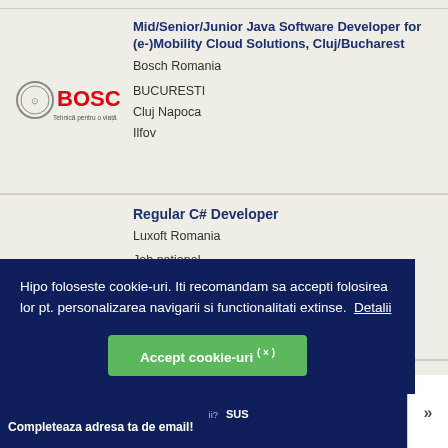[Figure (logo): Bosch logo with circular emblem and red BOSCH text, tagline 'Tehnică pentru o viață']
Mid/Senior/Junior Java Software Developer for (e-)Mobility Cloud Solutions, Cluj/Bucharest
Bosch Romania
BUCURESTI
Cluj Napoca
Ilfov
[Figure (logo): Luxoft logo - A DXC Technology Company]
Regular C# Developer
Luxoft Romania
Job national
Hipo foloseste cookie-uri. Iti recomandam sa accepti folosirea lor pt. personalizarea navigarii si functionalitati extinse.  Detalii
Accept cookie-uri (×)
... ii?  SUS  Completeaza adresa ta de email!